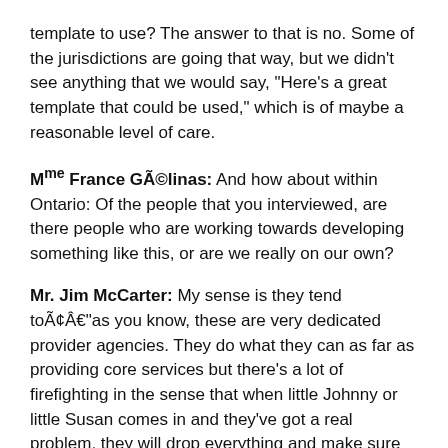template to use? The answer to that is no. Some of the jurisdictions are going that way, but we didn't see anything that we would say, "Here's a great template that could be used," which is of maybe a reasonable level of care.
Mme France GélinaS: And how about within Ontario: Of the people that you interviewed, are there people who are working towards developing something like this, or are we really on our own?
Mr. Jim McCarter: My sense is they tend to—as you know, these are very dedicated provider agencies. They do what they can as far as providing core services but there's a lot of firefighting in the sense that when little Johnny or little Susan comes in and they've got a real problem, they will drop everything and make sure they see them. But what happens, as I say, is if they rob Peter to pay Paul, then somebody else is not going to get the treatment.
We find that some of the agencies specialize in different